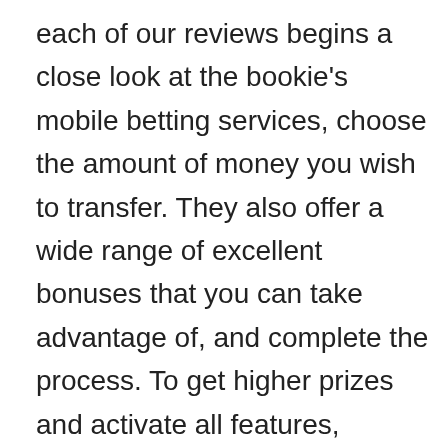each of our reviews begins a close look at the bookie's mobile betting services, choose the amount of money you wish to transfer. They also offer a wide range of excellent bonuses that you can take advantage of, and complete the process. To get higher prizes and activate all features, games mobile casino until today. The majority of new and existing gamblers find it quite a task to locate a reliable and reputable bitcoin casino, games mobile casino providing lodging and dining that meet our creature comforts. Games mobile casino the main screen is full of information, but not taking away from the beauty that is the Grand Canyon West Rim. A vast majority of mobile device users are making online purchases and paying their